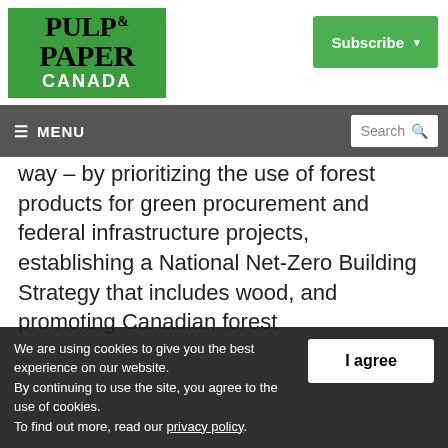[Figure (logo): Pulp & Paper Canada logo on green background]
Subscribe ▾
≡ MENU   Search 🔍
way – by prioritizing the use of forest products for green procurement and federal infrastructure projects, establishing a National Net-Zero Building Strategy that includes wood, and promoting Canadian forest
We are using cookies to give you the best experience on our website.
By continuing to use the site, you agree to the use of cookies.
To find out more, read our privacy policy.
I agree